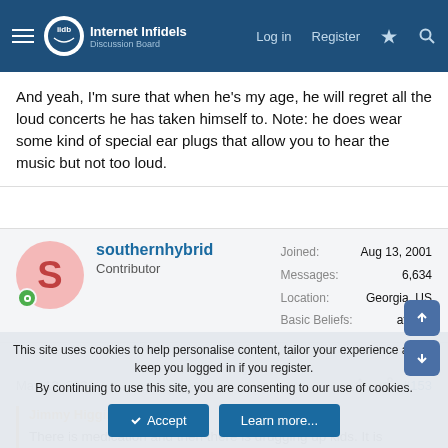Internet Infidels Discussion Board — Log in  Register
And yeah, I'm sure that when he's my age, he will regret all the loud concerts he has taken himself to. Note: he does wear some kind of special ear plugs that allow you to hear the music but not too loud.
southernhybrid
Contributor
Joined: Aug 13, 2001
Messages: 6,634
Location: Georgia, US
Basic Beliefs: atheist
May 13, 2021  #153
Jimmy Higgins said:
There is medication and then there is drugging up kids. It is important to be leery of just one of those things. The child psychiatrist had that
This site uses cookies to help personalise content, tailor your experience and to keep you logged in if you register.
By continuing to use this site, you are consenting to our use of cookies.